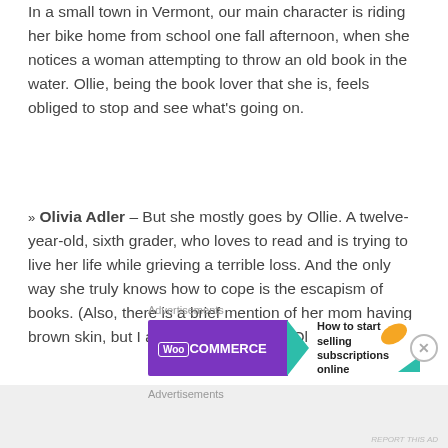In a small town in Vermont, our main character is riding her bike home from school one fall afternoon, when she notices a woman attempting to throw an old book in the water. Ollie, being the book lover that she is, feels obliged to stop and see what's going on.
➤ Olivia Adler – But she mostly goes by Ollie. A twelve-year-old, sixth grader, who loves to read and is trying to live her life while grieving a terrible loss. And the only way she truly knows how to cope is the escapism of books. (Also, there is a brief mention of her mom having brown skin, but I am not 100% sure of Ollie's race.)
[Figure (screenshot): WooCommerce advertisement banner: purple left panel with WooCommerce logo and teal chevron arrow, white right panel with text 'How to start selling subscriptions online', orange leaf graphic top right, teal corner bottom right, close button on far right]
Advertisements